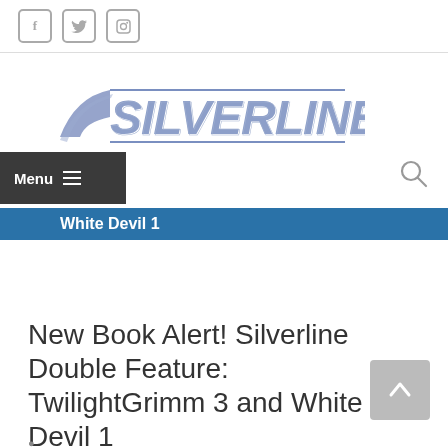Social media icons: Facebook, Twitter, Instagram
[Figure (logo): Silverline logo in blue/silver italic bold text with swoosh graphic]
Menu
White Devil 1
New Book Alert! Silverline Double Feature: TwilightGrimm 3 and White Devil 1